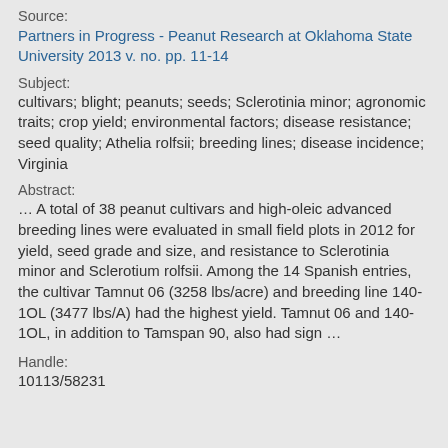Source:
Partners in Progress - Peanut Research at Oklahoma State University 2013 v. no. pp. 11-14
Subject:
cultivars; blight; peanuts; seeds; Sclerotinia minor; agronomic traits; crop yield; environmental factors; disease resistance; seed quality; Athelia rolfsii; breeding lines; disease incidence; Virginia
Abstract:
… A total of 38 peanut cultivars and high-oleic advanced breeding lines were evaluated in small field plots in 2012 for yield, seed grade and size, and resistance to Sclerotinia minor and Sclerotium rolfsii. Among the 14 Spanish entries, the cultivar Tamnut 06 (3258 lbs/acre) and breeding line 140-1OL (3477 lbs/A) had the highest yield. Tamnut 06 and 140-1OL, in addition to Tamspan 90, also had sign …
Handle:
10113/58231